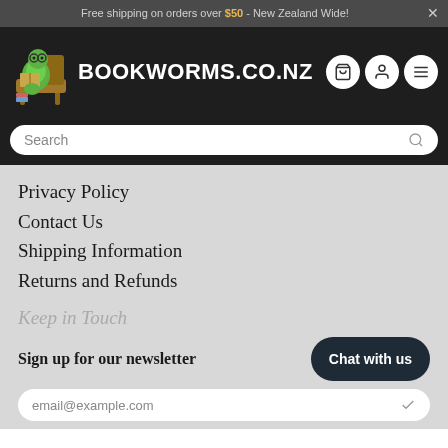Free shipping on orders over $50 - New Zealand Wide!
[Figure (logo): Bookworms.co.nz logo with green worm reading a book on a chair]
BOOKWORMS.CO.NZ
Privacy Policy
Contact Us
Shipping Information
Returns and Refunds
Keep in Touch
Sign up for our newsletter
Chat with us
email@example.com